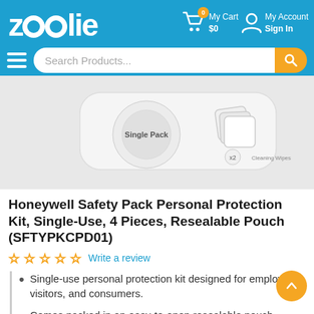[Figure (logo): Zoolie website logo in white on blue background]
[Figure (screenshot): Navigation header with My Cart ($0, 0 items) and My Account / Sign In links on blue background]
[Figure (screenshot): Search bar with hamburger menu icon and orange search button reading 'Search Products...']
[Figure (photo): Product image of Honeywell Safety Pack Personal Protection Kit showing white Single Pack pouch with cleaning wipes]
Honeywell Safety Pack Personal Protection Kit, Single-Use, 4 Pieces, Resealable Pouch (SFTYPKCPD01)
☆ ☆ ☆ ☆ ☆ Write a review
Single-use personal protection kit designed for employees, visitors, and consumers.
Comes packed in an easy-to-open resealable pouch.